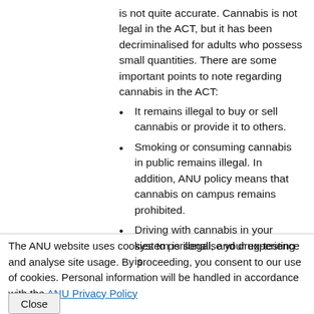is not quite accurate. Cannabis is not legal in the ACT, but it has been decriminalised for adults who possess small quantities. There are some important points to note regarding cannabis in the ACT:
It remains illegal to buy or sell cannabis or provide it to others.
Smoking or consuming cannabis in public remains illegal. In addition, ANU policy means that cannabis on campus remains prohibited.
Driving with cannabis in your system is illegal, and drug-testing is
The ANU website uses cookies to personalise your experience and analyse site usage. By proceeding, you consent to our use of cookies. Personal information will be handled in accordance with the ANU Privacy Policy
Close